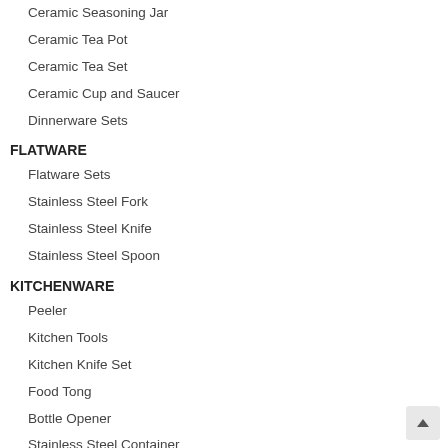Ceramic Seasoning Jar
Ceramic Tea Pot
Ceramic Tea Set
Ceramic Cup and Saucer
Dinnerware Sets
FLATWARE
Flatware Sets
Stainless Steel Fork
Stainless Steel Knife
Stainless Steel Spoon
KITCHENWARE
Peeler
Kitchen Tools
Kitchen Knife Set
Food Tong
Bottle Opener
Stainless Steel Container